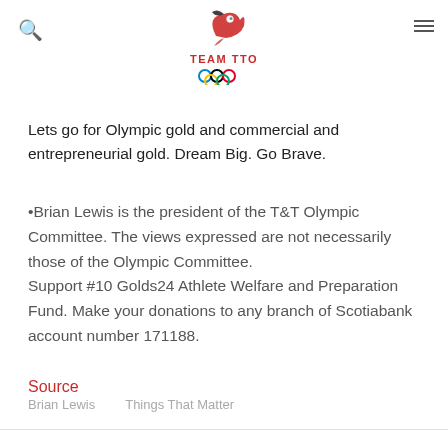TEAM TTO
Lets go for Olympic gold and commercial and entrepreneurial gold. Dream Big. Go Brave.
•Brian Lewis is the president of the T&T Olympic Committee. The views expressed are not necessarily those of the Olympic Committee.
Support #10 Golds24 Athlete Welfare and Preparation Fund. Make your donations to any branch of Scotiabank account number 171188.
Source
Brian Lewis
Things That Matter